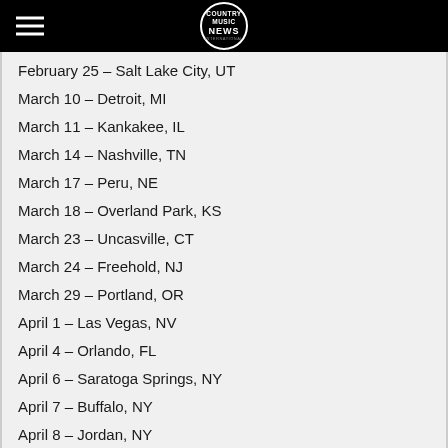COUNTRY MUSIC NEWS INTERNATIONAL
February 25 – Salt Lake City, UT
March 10 – Detroit, MI
March 11 – Kankakee, IL
March 14 – Nashville, TN
March 17 – Peru, NE
March 18 – Overland Park, KS
March 23 – Uncasville, CT
March 24 – Freehold, NJ
March 29 – Portland, OR
April 1 – Las Vegas, NV
April 4 – Orlando, FL
April 6 – Saratoga Springs, NY
April 7 – Buffalo, NY
April 8 – Jordan, NY
April 18 – Scranton, PA
April 21 – San Marcos, TX
April 22 – Katy, TX
April 25 – Birmingham, AL
April 28 – Indio, CA *
April 29 – San Diego, CA